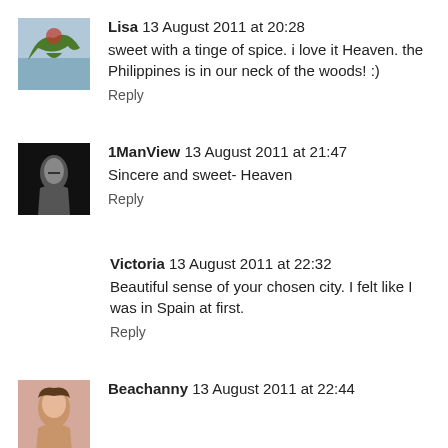Lisa 13 August 2011 at 20:28
sweet with a tinge of spice. i love it Heaven. the Philippines is in our neck of the woods! :)
Reply
1ManView 13 August 2011 at 21:47
Sincere and sweet- Heaven
Reply
Victoria 13 August 2011 at 22:32
Beautiful sense of your chosen city. I felt like I was in Spain at first.
Reply
Beachanny 13 August 2011 at 22:44